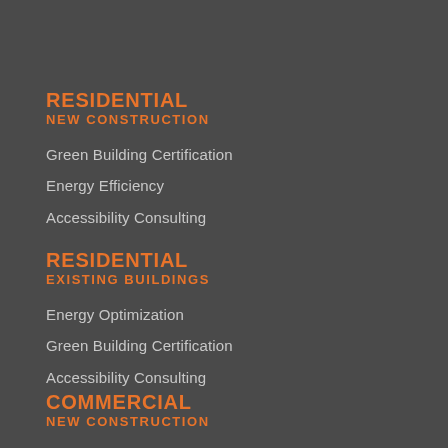RESIDENTIAL
NEW CONSTRUCTION
Green Building Certification
Energy Efficiency
Accessibility Consulting
RESIDENTIAL
EXISTING BUILDINGS
Energy Optimization
Green Building Certification
Accessibility Consulting
COMMERCIAL
NEW CONSTRUCTION
Green Building Certification